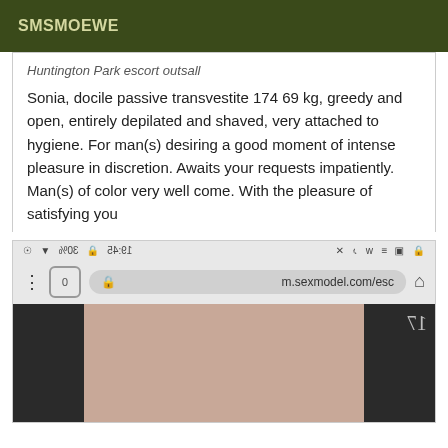SMSMOEWE
Huntington Park escort outsall
Sonia, docile passive transvestite 174 69 kg, greedy and open, entirely depilated and shaved, very attached to hygiene. For man(s) desiring a good moment of intense pleasure in discretion. Awaits your requests impatiently. Man(s) of color very well come. With the pleasure of satisfying you
[Figure (screenshot): Screenshot of a mobile browser showing m.sexmodel.com/esc website with a photo of a person]